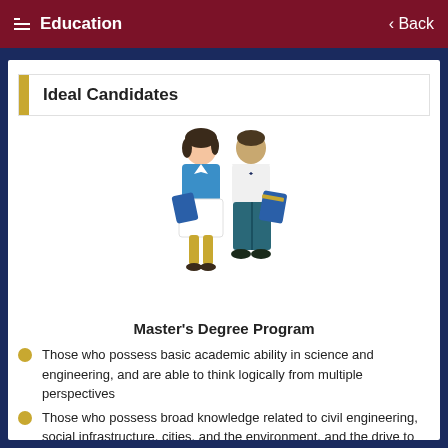Education  Back
Ideal Candidates
[Figure (illustration): Illustration of two students (a woman in a blue top and white skirt, and a man in a white shirt and teal pants), each holding a blue folder/portfolio, standing side by side.]
Master's Degree Program
Those who possess basic academic ability in science and engineering, and are able to think logically from multiple perspectives
Those who possess broad knowledge related to civil engineering, social infrastructure, cities, and the environment, and the drive to actively learn and conduct research